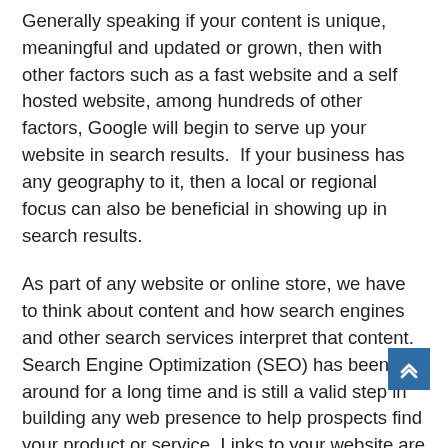Generally speaking if your content is unique, meaningful and updated or grown, then with other factors such as a fast website and a self hosted website, among hundreds of other factors, Google will begin to serve up your website in search results.  If your business has any geography to it, then a local or regional focus can also be beneficial in showing up in search results.
As part of any website or online store, we have to think about content and how search engines and other search services interpret that content. Search Engine Optimization (SEO) has been around for a long time and is still a valid step in building any web presence to help prospects find your product or service. Links to your website are